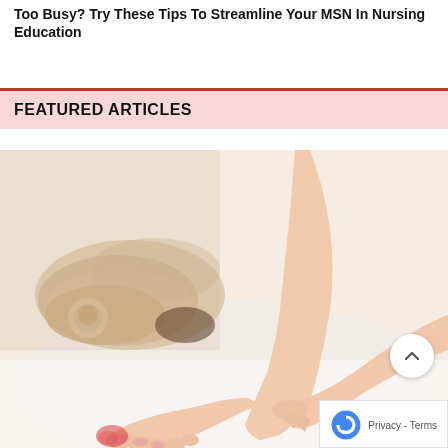Too Busy? Try These Tips To Streamline Your MSN In Nursing Education
FEATURED ARTICLES
[Figure (photo): Close-up photo of a woman's feet and hands, with one hand touching the big toe area of a foot that appears red/inflamed (suggesting a bunion or gout condition). A pair of beige ballet flat shoes is visible in the background, blurred.]